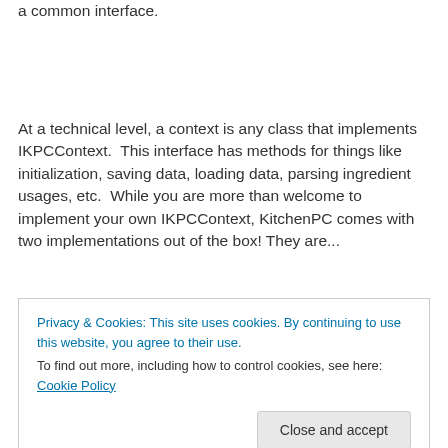a common interface.
At a technical level, a context is any class that implements IKPCContext.  This interface has methods for things like initialization, saving data, loading data, parsing ingredient usages, etc.  While you are more than welcome to implement your own IKPCContext, KitchenPC comes with two implementations out of the box! They are...
Privacy & Cookies: This site uses cookies. By continuing to use this website, you agree to their use.
To find out more, including how to control cookies, see here: Cookie Policy
with KitchenPC.  This context loads all its required data